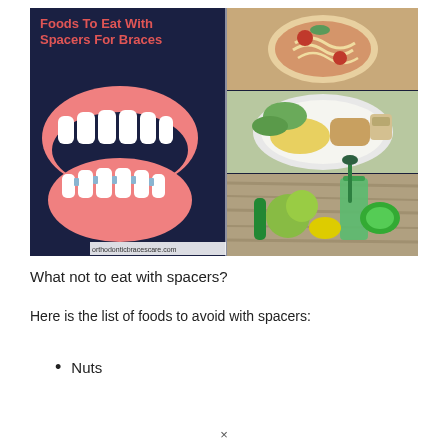[Figure (infographic): Infographic titled 'Foods To Eat With Spacers For Braces' showing a dental model with braces/spacers on the left (dark navy background) and three food photos on the right: pasta dish, salad with egg and bread, green smoothie with vegetables and fruits. Watermark: orthodonticbracescare.com]
What not to eat with spacers?
Here is the list of foods to avoid with spacers:
Nuts